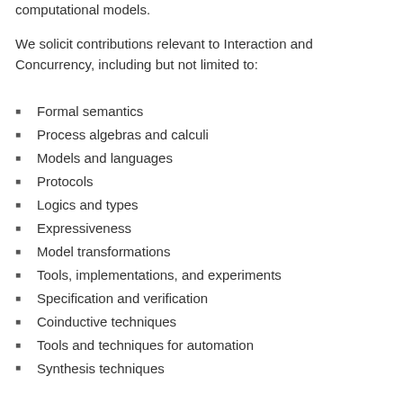computational models.
We solicit contributions relevant to Interaction and Concurrency, including but not limited to:
Formal semantics
Process algebras and calculi
Models and languages
Protocols
Logics and types
Expressiveness
Model transformations
Tools, implementations, and experiments
Specification and verification
Coinductive techniques
Tools and techniques for automation
Synthesis techniques
Selection Procedure
Since its first edition in 2008, the distinguishing feature of ICE has been an innovative paper